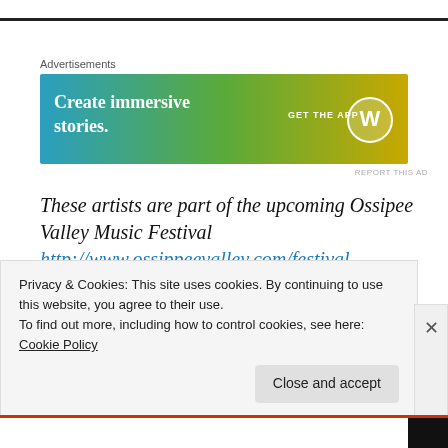Advertisements
[Figure (illustration): WordPress advertisement banner: 'Create immersive stories. GET THE APP' with WordPress logo on gradient blue-green-yellow background]
REPORT THIS AD
These artists are part of the upcoming Ossipee Valley Music Festival http://www.ossippeevalley.com/festival
Ellis Paul “When Angels Fall” http://www.ellispaul.com
Buffalo Rose with Tom Paxton “Runaway” – Rabbit http://www.buffalorosemusic.com
Shinyribs “Party While You Still Can” – Late Night TV Gold
Privacy & Cookies: This site uses cookies. By continuing to use this website, you agree to their use.
To find out more, including how to control cookies, see here: Cookie Policy